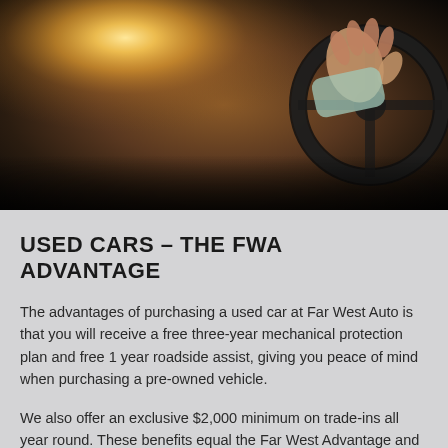[Figure (photo): Close-up photo of a person's hand gripping a car steering wheel with bright sunlight/flare coming through the windshield in the background]
USED CARS – THE FWA ADVANTAGE
The advantages of purchasing a used car at Far West Auto is that you will receive a free three-year mechanical protection plan and free 1 year roadside assist, giving you peace of mind when purchasing a pre-owned vehicle.
We also offer an exclusive $2,000 minimum on trade-ins all year round. These benefits equal the Far West Advantage and we